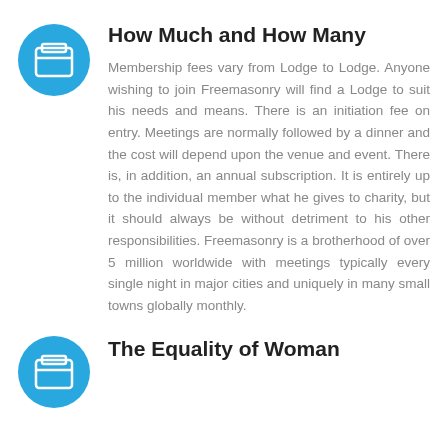How Much and How Many
Membership fees vary from Lodge to Lodge. Anyone wishing to join Freemasonry will find a Lodge to suit his needs and means. There is an initiation fee on entry. Meetings are normally followed by a dinner and the cost will depend upon the venue and event. There is, in addition, an annual subscription. It is entirely up to the individual member what he gives to charity, but it should always be without detriment to his other responsibilities. Freemasonry is a brotherhood of over 5 million worldwide with meetings typically every single night in major cities and uniquely in many small towns globally monthly.
The Equality of Woman